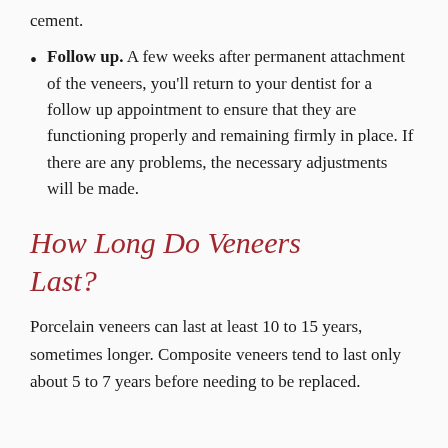cement.
Follow up. A few weeks after permanent attachment of the veneers, you'll return to your dentist for a follow up appointment to ensure that they are functioning properly and remaining firmly in place. If there are any problems, the necessary adjustments will be made.
How Long Do Veneers Last?
Porcelain veneers can last at least 10 to 15 years, sometimes longer. Composite veneers tend to last only about 5 to 7 years before needing to be replaced.